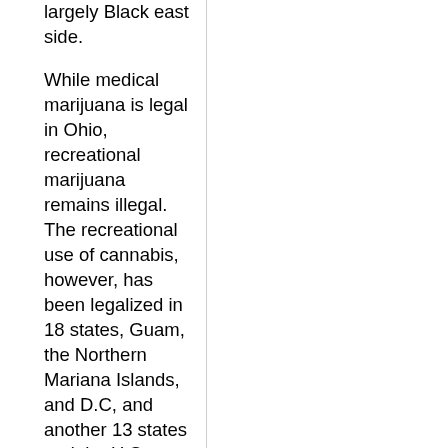largely Black east side.
While medical marijuana is legal in Ohio, recreational marijuana remains illegal. The recreational use of cannabis, however, has been legalized in 18 states, Guam, the Northern Mariana Islands, and D.C, and another 13 states and the U.S. Virgin Islands have decriminalized its use.
Criminal justice reform advocates and some Black